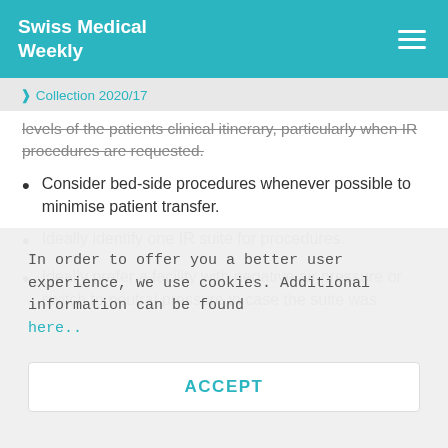Swiss Medical Weekly
❱ Collection 2020/17
levels of the patients clinical itinerary, particularly when IR procedures are requested.
Consider bed-side procedures whenever possible to minimise patient transfer.
Ideally identify one IR suite for procedures.
Ideally prefer a facility with negative air pressure or switch to neutral pressure in case the suite was
In order to offer you a better user experience, we use cookies. Additional information can be found here.
ACCEPT